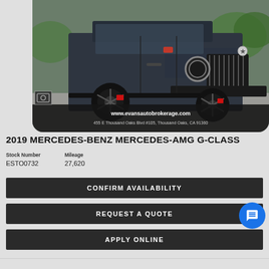[Figure (photo): Dark grey/graphite 2019 Mercedes-Benz AMG G-Class SUV parked outdoors, front 3/4 view, with aftermarket black and red wheels. Dealership watermark and address overlay at bottom: www.evansautobrokerage.com, 455 E Thousand Oaks Blvd #105, Thousand Oaks, CA 91360]
2019 MERCEDES-BENZ MERCEDES-AMG G-CLASS
| Stock Number | Mileage |
| --- | --- |
| ESTO0732 | 27,620 |
CONFIRM AVAILABILITY
REQUEST A QUOTE
APPLY ONLINE